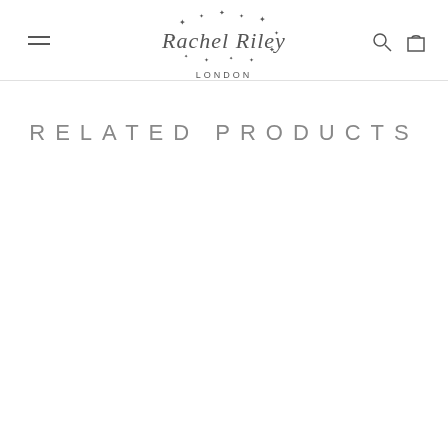Rachel Riley London
RELATED PRODUCTS